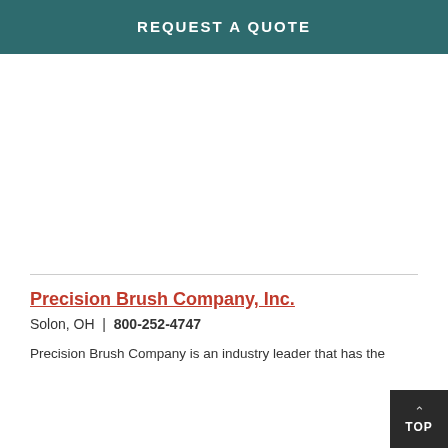REQUEST A QUOTE
Precision Brush Company, Inc.
Solon, OH  |  800-252-4747
Precision Brush Company is an industry leader that has the